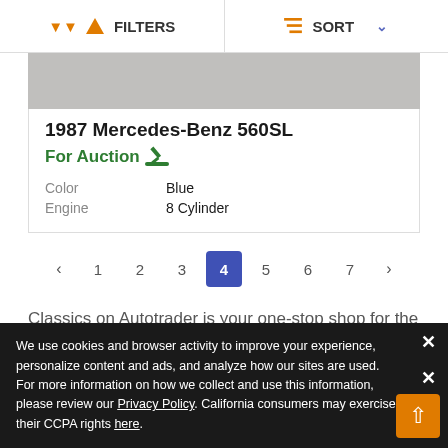FILTERS | SORT
[Figure (photo): Car image thumbnail showing gray/silver textured background]
1987 Mercedes-Benz 560SL
For Auction 🔨
| Color | Blue |
| Engine | 8 Cylinder |
< 1 2 3 4 5 6 7 >
Classics on Autotrader is your one-stop shop for the best classic cars, muscle cars, project cars, exotics, hot rods, classic trucks, and old cars for sale. Are you looking to buy your...
We use cookies and browser activity to improve your experience, personalize content and ads, and analyze how our sites are used. For more information on how we collect and use this information, please review our Privacy Policy. California consumers may exercise their CCPA rights here.